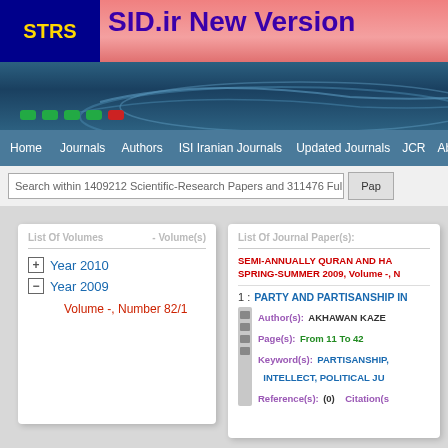STRS | SID.ir New Version
Home  Journals  Authors  ISI Iranian Journals  Updated Journals  JCR  About
Search within 1409212 Scientific-Research Papers and 311476 Full Text
List Of Volumes   - Volume(s)
List Of Journal Paper(s):
+ Year 2010
- Year 2009
Volume -, Number 82/1
SEMI-ANNUALLY QURAN AND HAD... SPRING-SUMMER 2009, Volume -, N...
1 : PARTY AND PARTISANSHIP IN...
Author(s): AKHAWAN KAZE...
Page(s): From 11 To 42
Keyword(s): PARTISANSHIP, INTELLECT, POLITICAL JU...
Reference(s): (0)   Citation(s):...